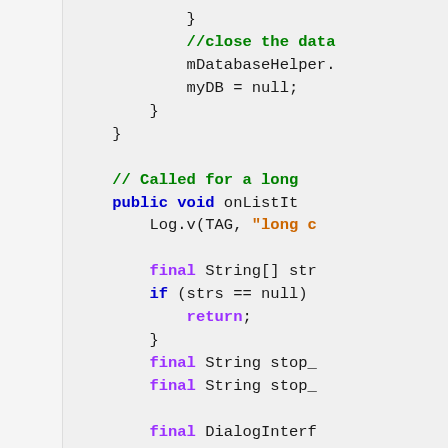[Figure (screenshot): Code snippet showing Java Android code with syntax highlighting. Left panel is light gray (blank). Right panel shows code with colored keywords: purple for final/return/switch/case, blue for public/void/if, green for comments, orange for string literals. Code includes closing braces, mDatabaseHelper, myDB = null, a comment about 'Called for a long...', onListIt... method, Log.v call, String array strs, null check with return, String stop_ variables, DialogInterf... with @Override, public void onCl..., switch(id) with case DialogInt..., and AddBusstopFa...]